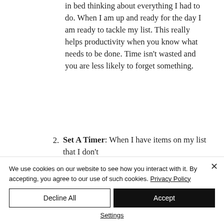in bed thinking about everything I had to do. When I am up and ready for the day I am ready to tackle my list. This really helps productivity when you know what needs to be done. Time isn't wasted and you are less likely to forget something.
2. Set A Timer: When I have items on my list that I don't
We use cookies on our website to see how you interact with it. By accepting, you agree to our use of such cookies. Privacy Policy
Decline All
Accept
Settings